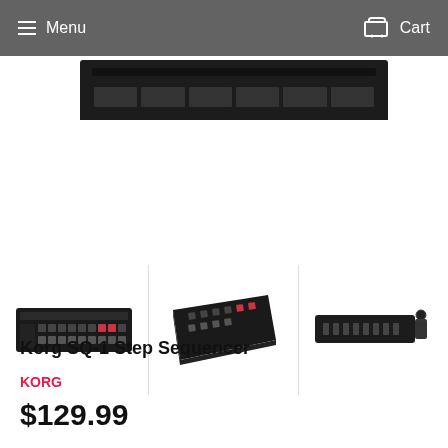Menu  Cart
[Figure (photo): Top portion of Korg SQ-1 Step Sequencer device, showing the top panel in black, cropped view]
[Figure (photo): Three thumbnail images of Korg SQ-1 Step Sequencer: front/top view, angled perspective view, and side/rear view]
Korg SQ-1 Step Sequencer
KORG
$129.99